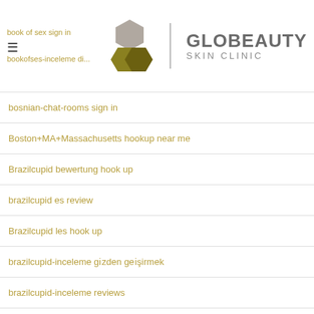GLOBEAUTY SKIN CLINIC
bosnian-chat-rooms sign in
Boston+MA+Massachusetts hookup near me
Brazilcupid bewertung hook up
brazilcupid es review
Brazilcupid les hook up
brazilcupid-inceleme gözden geçirmek
brazilcupid-inceleme reviews
Brisbane+Australia local hookup app near me free
bristlr adult dating
bristlr sign in
Bristol+United Kingdom best hookup apps